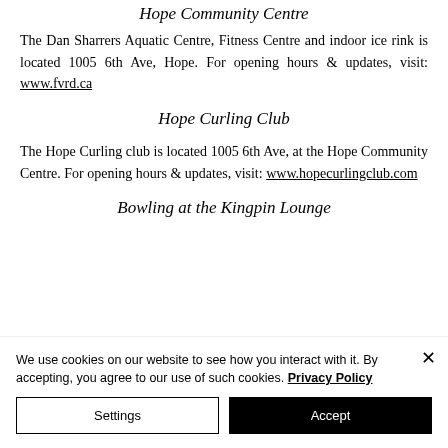Hope Community Centre
The Dan Sharrers Aquatic Centre, Fitness Centre and indoor ice rink is located 1005 6th Ave, Hope. For opening hours & updates, visit: www.fvrd.ca
Hope Curling Club
The Hope Curling club is located 1005 6th Ave, at the Hope Community Centre. For opening hours & updates, visit: www.hopecurlingclub.com
Bowling at the Kingpin Lounge
We use cookies on our website to see how you interact with it. By accepting, you agree to our use of such cookies. Privacy Policy
Settings | Accept